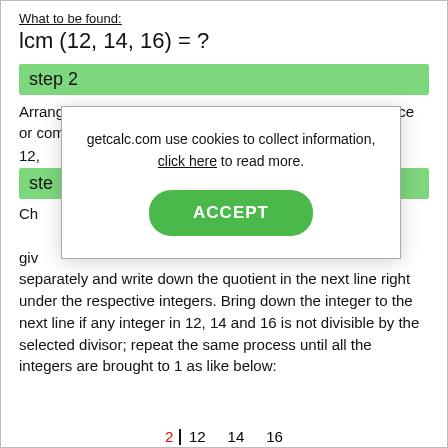What to be found:
step 2
Arrange the given integers in the horizontal form with space or comma separated format:
12,
step 3
Choose the smallest prime number which is a divisor of at least one of the given integers. Divide each of the given integers separately and write down the quotient in the next line right under the respective integers. Bring down the integer to the next line if any integer in 12, 14 and 16 is not divisible by the selected divisor; repeat the same process until all the integers are brought to 1 as like below:
[Figure (other): Cookie consent modal dialog with text 'getcalc.com use cookies to collect information, click here to read more.' and an ACCEPT button]
[Figure (table-as-image): Partial table showing columns: 2 | 12  14  16 at the bottom of the page]